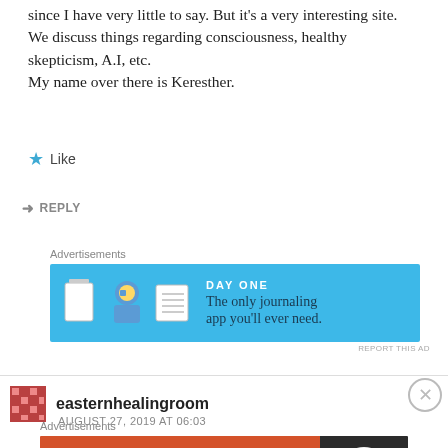since I have very little to say. But it's a very interesting site. We discuss things regarding consciousness, healthy skepticism, A.I, etc.
My name over there is Keresther.
★ Like
➜ REPLY
Advertisements
[Figure (other): Day One journaling app advertisement banner - blue background with app icons and text 'The only journaling app you'll ever need.']
REPORT THIS AD
easternhealingroom
AUGUST 27, 2019 AT 06:03
Advertisements
[Figure (other): DuckDuckGo advertisement - 'Search, browse, and email with more privacy. All in One Free App' on orange/dark background with DuckDuckGo logo]